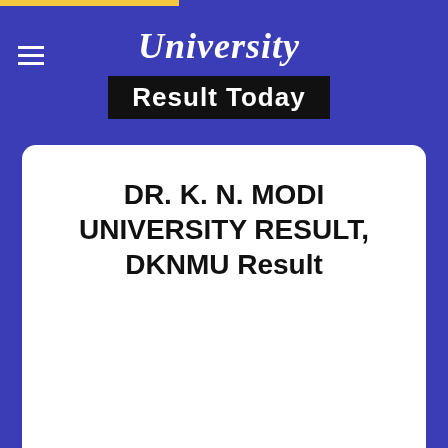University Result Today
DR. K. N. MODI UNIVERSITY RESULT, DKNMU Result